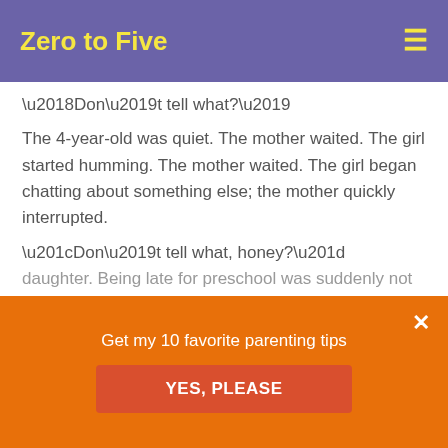Zero to Five
‘Don’t tell what?’
The 4-year-old was quiet. The mother waited. The girl started humming. The mother waited. The girl began chatting about something else; the mother quickly interrupted.
“Don’t tell what, honey?”
“I can’t tell you.”
The mother intended to project calm, but she hit the brakes, screeched to a halt, and fully turned to face her daughter. Being late for preschool was suddenly not an
Get my 10 favorite parenting tips
YES, PLEASE